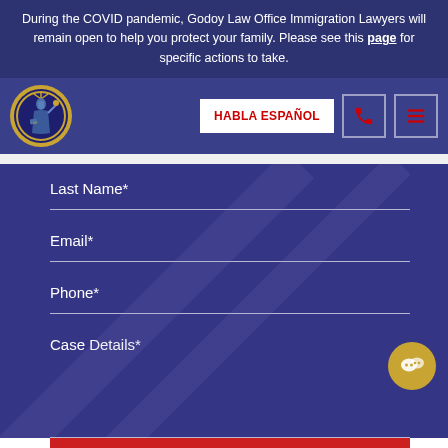During the COVID pandemic, Godoy Law Office Immigration Lawyers will remain open to help you protect your family. Please see this page for specific actions to take.
[Figure (logo): Godoy Law Office circular logo with Statue of Liberty imagery and gold border]
HABLA ESPAÑOL
Last Name*
Email*
Phone*
Case Details*
SUBMIT